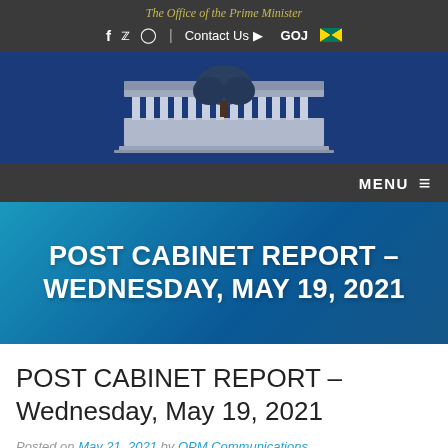The Office of the Prime Minister
f  y  Instagram  |  Contact Us  GOJ
[Figure (logo): Official logo of the Office of the Prime Minister of Jamaica — a classical building facade with tree, silver/blue color scheme]
MENU
POST CABINET REPORT – WEDNESDAY, MAY 19, 2021
POST CABINET REPORT – Wednesday, May 19, 2021
Posted on May 21, 2021 by OPM Communications